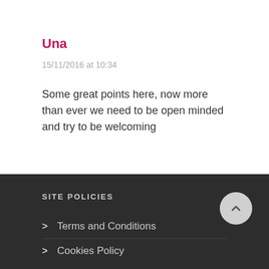Una
15/11/2016 at 10:34
Some great points here, now more than ever we need to be open minded and try to be welcoming
SITE POLICIES
Terms and Conditions
Cookies Policy